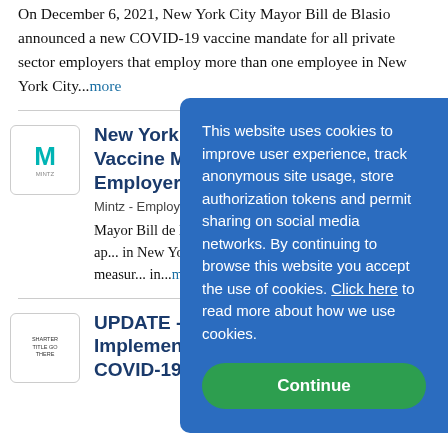On December 6, 2021, New York City Mayor Bill de Blasio announced a new COVID-19 vaccine mandate for all private sector employers that employ more than one employee in New York City...more
New York City A... Vaccine Mandat... Employers
Mintz - Employment, Labor
Mayor Bill de Blasio has an... vaccine mandate that will ap... in New York City. The Mayo... a “first in the nation measur... in...more
UPDATE - Status... Implementation of the Federal COVID-19 Vaccine Workplace...
This website uses cookies to improve user experience, track anonymous site usage, store authorization tokens and permit sharing on social media networks. By continuing to browse this website you accept the use of cookies. Click here to read more about how we use cookies.
Continue